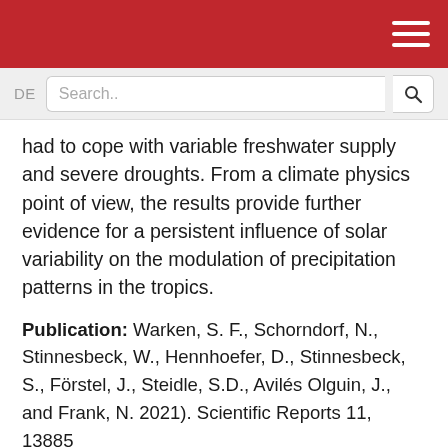DE Search..
had to cope with variable freshwater supply and severe droughts. From a climate physics point of view, the results provide further evidence for a persistent influence of solar variability on the modulation of precipitation patterns in the tropics.
Publication: Warken, S. F., Schorndorf, N., Stinnesbeck, W., Hennhoefer, D., Stinnesbeck, S., Förstel, J., Steidle, S.D., Avilés Olguin, J., and Frank, N. 2021). Scientific Reports 11, 13885 https://doi.org/10.1038/s41598-021-93417-z
Photo Courtesy: Valentina Cucchiara, Jerónimo Avilés Olguin